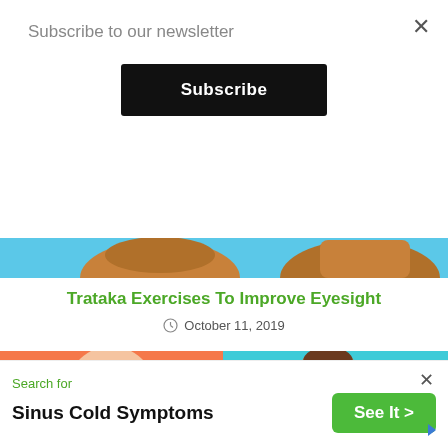Subscribe to our newsletter
Subscribe
[Figure (illustration): Partial blue background illustration with illustrated figures/hats at the top]
Trataka Exercises To Improve Eyesight
October 11, 2019
[Figure (illustration): Two side-by-side health illustrations: left shows person with back/hip area on orange background, right shows person's back/shoulder on teal background]
Search for
Sinus Cold Symptoms
See It >